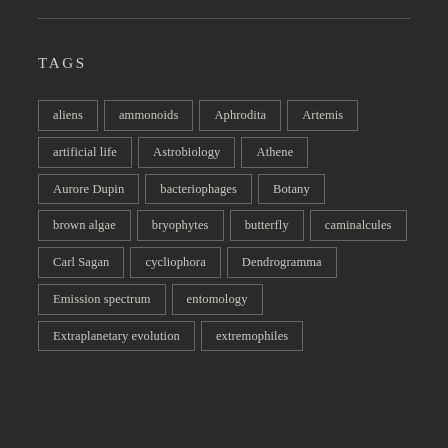TAGS
aliens
ammonoids
Aphrodita
Artemis
artificial life
Astrobiology
Athene
Aurore Dupin
bacteriophages
Botany
brown algae
bryophytes
butterfly
caminalcules
Carl Sagan
cycliophora
Dendrogramma
Emission spectrum
entomology
Extraplanetary evolution
extremophiles